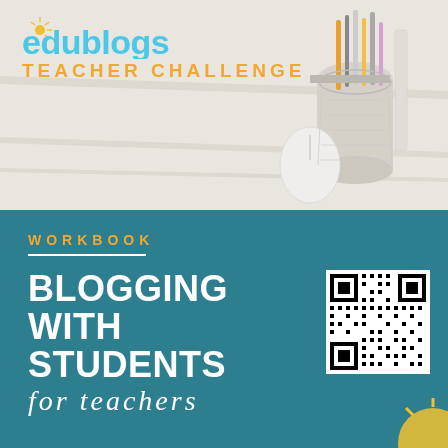[Figure (photo): Top half showing edublogs Teacher Challenge branding over a light desk/office background with pencils, ruler, and mouse]
edublogs TEACHER CHALLENGE
WORKBOOK
BLOGGING WITH STUDENTS for teachers
[Figure (other): QR code linking to edublogs Teacher Challenge blogging with students workbook]